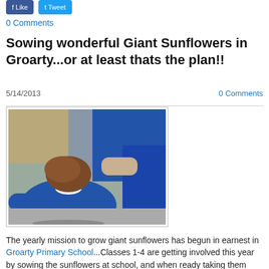[Figure (other): Two blue social share/action buttons (Facebook-style dark blue and Twitter-style light blue) at the top of the page]
0 Comments
Sowing wonderful Giant Sunflowers in Groarty...or at least thats the plan!!
5/14/2013
0 Comments
[Figure (photo): A child in a blue school uniform jumper with white collar, photographed from behind, surrounded by other children outdoors on a paved area.]
The yearly mission to grow giant sunflowers has begun in earnest in Groarty Primary School...Classes 1-4 are getting involved this year by sowing the sunflowers at school, and when ready taking them home